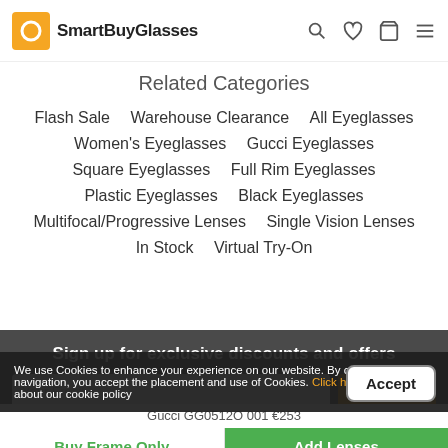SmartBuyGlasses
Related Categories
Flash Sale
Warehouse Clearance
All Eyeglasses
Women's Eyeglasses
Gucci Eyeglasses
Square Eyeglasses
Full Rim Eyeglasses
Plastic Eyeglasses
Black Eyeglasses
Multifocal/Progressive Lenses
Single Vision Lenses
In Stock
Virtual Try-On
Sign up for exclusive discounts and offers
We use Cookies to enhance your experience on our website. By continuing your navigation, you accept the placement and use of Cookies. Click here to learn more about our cookie policy
Gucci GG0512O 001 €253
Buy Frame Only
Add Lenses